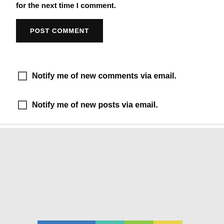for the next time I comment.
POST COMMENT
Notify me of new comments via email.
Notify me of new posts via email.
Privacy & Cookies: This site uses cookies. By continuing to use this website, you agree to their use.
To find out more, including how to control cookies, see here: Cookie Policy
Close and accept